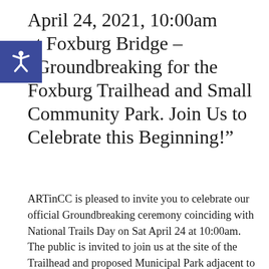April 24, 2021, 10:00am at Foxburg Bridge – “Groundbreaking for the Foxburg Trailhead and Small Community Park. Join Us to Celebrate this Beginning!”
ARTinCC is pleased to invite you to celebrate our official Groundbreaking ceremony coinciding with National Trails Day on Sat April 24 at 10:00am.   The public is invited to join us at the site of the Trailhead and proposed Municipal Park adjacent to the Foxburg Bridge on Rt 58.  Local and state